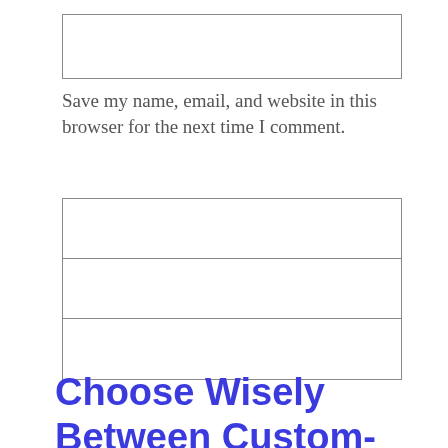[Figure (other): Empty input box (text field)]
Save my name, email, and website in this browser for the next time I comment.
[Figure (other): Three stacked empty input boxes (form fields)]
Choose Wisely Between Custom-Built And ‘Off-The-Rack’ Services